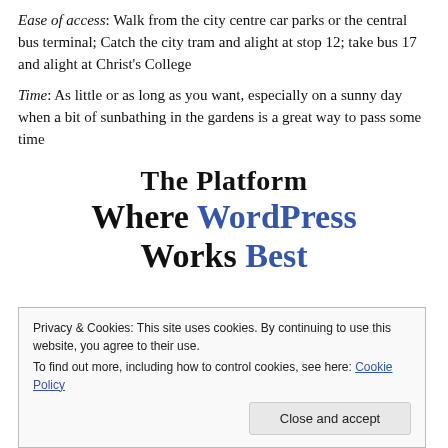Ease of access: Walk from the city centre car parks or the central bus terminal; Catch the city tram and alight at stop 12; take bus 17 and alight at Christ's College
Time: As little or as long as you want, especially on a sunny day when a bit of sunbathing in the gardens is a great way to pass some time
[Figure (other): Promotional banner reading 'The Platform Where WordPress Works Best' with WordPress and Best in blue]
Privacy & Cookies: This site uses cookies. By continuing to use this website, you agree to their use. To find out more, including how to control cookies, see here: Cookie Policy